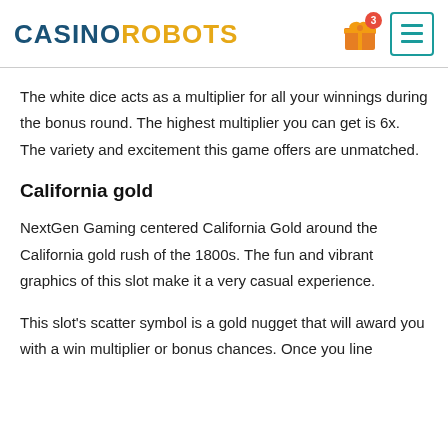CASINO ROBOTS
The white dice acts as a multiplier for all your winnings during the bonus round. The highest multiplier you can get is 6x. The variety and excitement this game offers are unmatched.
California gold
NextGen Gaming centered California Gold around the California gold rush of the 1800s. The fun and vibrant graphics of this slot make it a very casual experience.
This slot's scatter symbol is a gold nugget that will award you with a win multiplier or bonus chances. Once you line